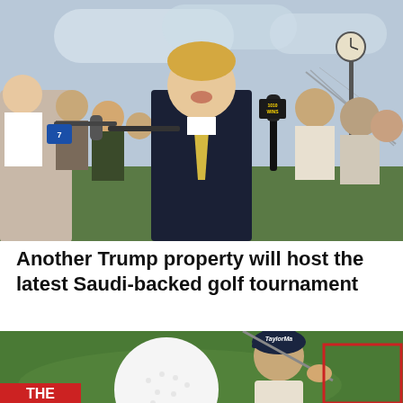[Figure (photo): A man in a dark suit with a yellow tie speaking to reporters, surrounded by microphones including one labeled '1010 WINS'. A suspension bridge and a clock post are visible in the background. Multiple journalists and cameras are around him.]
Another Trump property will host the latest Saudi-backed golf tournament
[Figure (photo): A golfer wearing a TaylorMade cap swinging a golf club, with a large golf ball visible and a red rectangular overlay in the frame. Green background.]